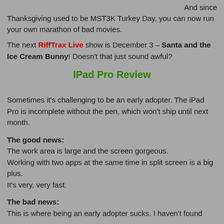And since Thanksgiving used to be MST3K Turkey Day, you can now run your own marathon of bad movies.
The next RiffTrax Live show is December 3 – Santa and the Ice Cream Bunny! Doesn't that just sound awful?
IPad Pro Review
Sometimes it's challenging to be an early adopter. The iPad Pro is incomplete without the pen, which won't ship until next month.
The good news:
The work area is large and the screen gorgeous.
Working with two apps at the same time in split screen is a big plus.
It's very, very fast.
The bad news:
This is where being an early adopter sucks. I haven't found